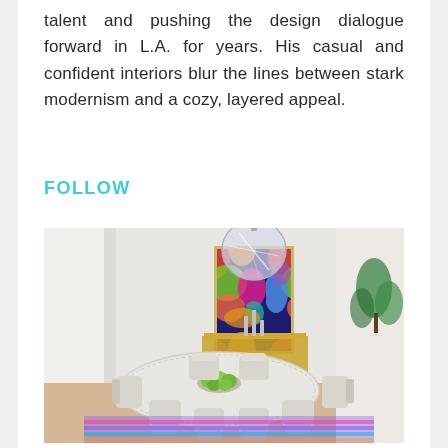talent and pushing the design dialogue forward in L.A. for years. His casual and confident interiors blur the lines between stark modernism and a cozy, layered appeal.
FOLLOW
[Figure (photo): Interior dining room photo showing a round white dining table with sculptural cream chairs, surrounded by a colorful abstract painting on the wall, a large globe pendant light, brass candleholders, and a bowl of limes on the table. A colorful striped rug is on the floor and green plants are visible on the right.]